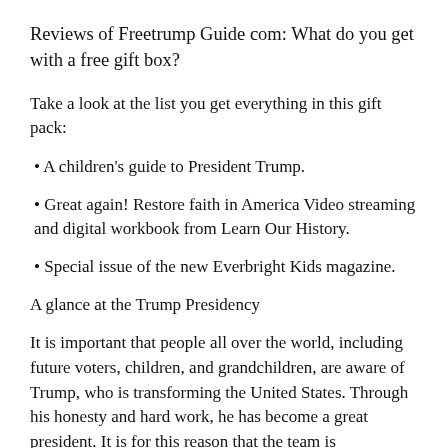Reviews of Freetrump Guide com: What do you get with a free gift box?
Take a look at the list you get everything in this gift pack:
• A children's guide to President Trump.
• Great again! Restore faith in America Video streaming and digital workbook from Learn Our History.
• Special issue of the new Everbright Kids magazine.
A glance at the Trump Presidency
It is important that people all over the world, including future voters, children, and grandchildren, are aware of Trump, who is transforming the United States. Through his honesty and hard work, he has become a great president. It is for this reason that the team is